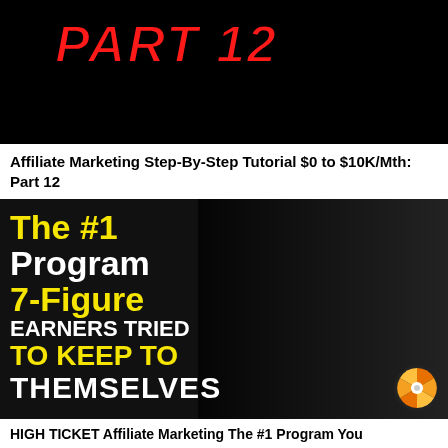[Figure (screenshot): Thumbnail image showing 'PART 12' text in bold red italic font on a dark/red background with a person partially visible]
Affiliate Marketing Step-By-Step Tutorial $0 to $10K/Mth: Part 12
[Figure (screenshot): Promotional thumbnail with text 'The #1 Program 7-Figure EARNERS TRIED TO KEEP TO THEMSELVES' overlaid on a black-and-white photo of a man with finger to lips, with an orange spinner logo in bottom right]
HIGH TICKET Affiliate Marketing The #1 Program You